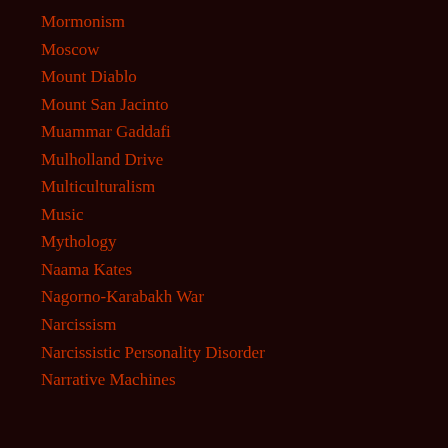Mormonism
Moscow
Mount Diablo
Mount San Jacinto
Muammar Gaddafi
Mulholland Drive
Multiculturalism
Music
Mythology
Naama Kates
Nagorno-Karabakh War
Narcissism
Narcissistic Personality Disorder
Narrative Machines